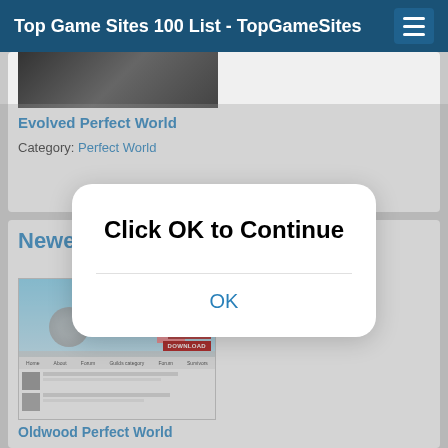Top Game Sites 100 List - TopGameSites
Evolved Perfect World
Category: Perfect World
Newest Members
[Figure (screenshot): Screenshot of Oldwood Perfect World game website with register and download buttons]
Oldwood Perfect World
[Figure (screenshot): Modal dialog overlay with text 'Click OK to Continue' and an OK button]